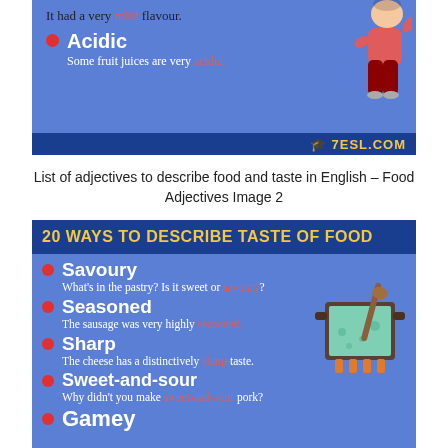[Figure (infographic): Top portion of a food adjectives infographic on blue background showing 'Acidic' entry with example sentence, a cartoon figure, and 7ESL.com branding bar]
List of adjectives to describe food and taste in English – Food Adjectives Image 2
[Figure (infographic): Blue infographic titled '20 WAYS TO DESCRIBE TASTE of FOOD' with bullet entries: Savoury, Seasoned, Sharp, Sweet-and-sour, Gamey — each with an example sentence highlighting the adjective in red, and a cooking pot illustration on the right]
Savoury — What's in the pastry? Is it sweet or savoury?
Seasoned — The sausage was very highly seasoned.
Sharp — The cheese has a distinctively sharp taste.
Sweet-and-sour — Why didn't you make sweet-and-sour pork?
Gamey